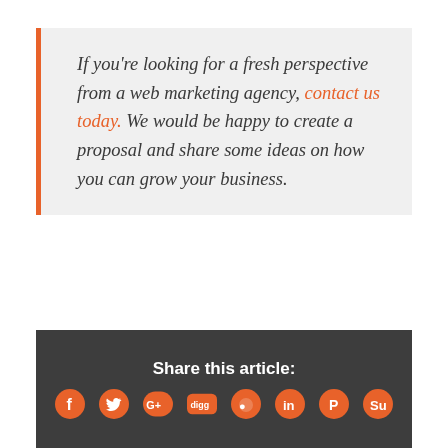If you're looking for a fresh perspective from a web marketing agency, contact us today. We would be happy to create a proposal and share some ideas on how you can grow your business.
Small Business Marketing, Website Design
Share this article: